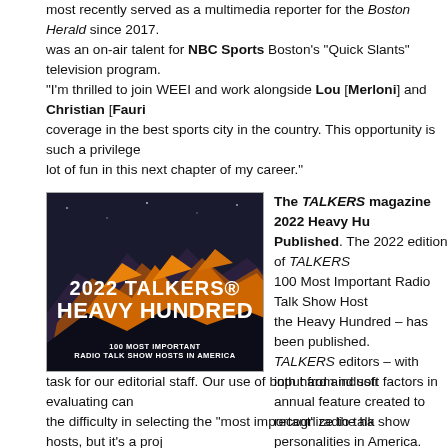most recently served as a multimedia reporter for the Boston Herald since 2017. was an on-air talent for NBC Sports Boston's "Quick Slants" television program. "I'm thrilled to join WEEI and work alongside Lou [Merloni] and Christian [Fauri coverage in the best sports city in the country. This opportunity is such a privilege lot of fun in this next chapter of my career."
[Figure (photo): 2022 TALKERS Heavy Hundred promotional image with mountain landscape and text '100 Most Important Radio Talk Show Hosts in America']
The TALKERS magazine 2022 Heavy Hundred Published. The 2022 edition of TALKERS 100 Most Important Radio Talk Show Hosts – the Heavy Hundred – has been published. TALKERS editors – with input from industry annual feature created to recognize the hardest personalities in America. TALKERS executives this 2022 edition, "Creating the Heavy Hundred task for our editorial staff. Our use of both hard and soft factors in evaluating candidates the difficulty in selecting the 'most important' radio talk show hosts, but it's a project big-picture look at the key players in this format and it's something that we take very seriously. all of the talk radio personalities who are recognized on this year's Heavy Hundred.
FOX News Digital Top Performer in Multiplatform Minutes for March. According to the month of March, FOX News Digital finished as the top-performing news brand in multiplatform minutes. FOX News Digital says this marks its fourth consecutive quarter